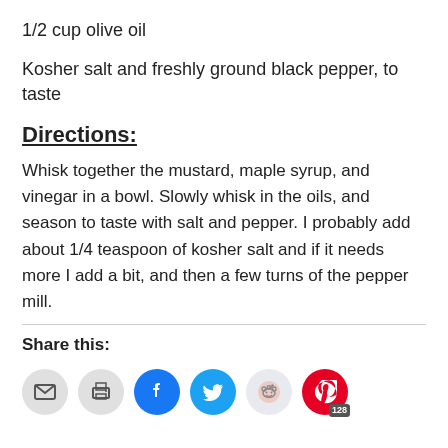1/2 cup olive oil
Kosher salt and freshly ground black pepper, to taste
Directions:
Whisk together the mustard, maple syrup, and vinegar in a bowl. Slowly whisk in the oils, and season to taste with salt and pepper. I probably add about 1/4 teaspoon of kosher salt and if it needs more I add a bit, and then a few turns of the pepper mill.
Share this: